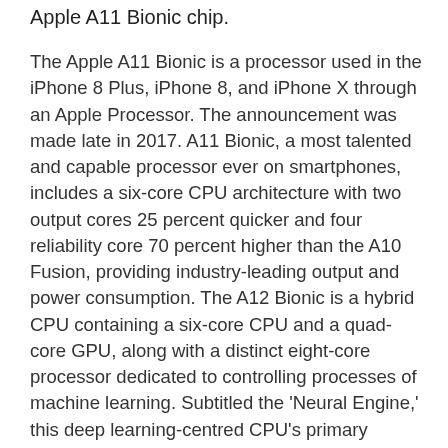Apple A11 Bionic chip.
The Apple A11 Bionic is a processor used in the iPhone 8 Plus, iPhone 8, and iPhone X through an Apple Processor. The announcement was made late in 2017. A11 Bionic, a most talented and capable processor ever on smartphones, includes a six-core CPU architecture with two output cores 25 percent quicker and four reliability core 70 percent higher than the A10 Fusion, providing industry-leading output and power consumption. The A12 Bionic is a hybrid CPU containing a six-core CPU and a quad-core GPU, along with a distinct eight-core processor dedicated to controlling processes of machine learning. Subtitled the 'Neural Engine,' this deep learning-centred CPU's primary priority is to keep a record of the assets on the iPhone models, whether they be CPU or GPU components, to be better suited to handling your instructions, and to also provide external computing power where appropriate. A latest, second-generation quality regulator can continuously leverage all six cores, providing up to 70 percent higher